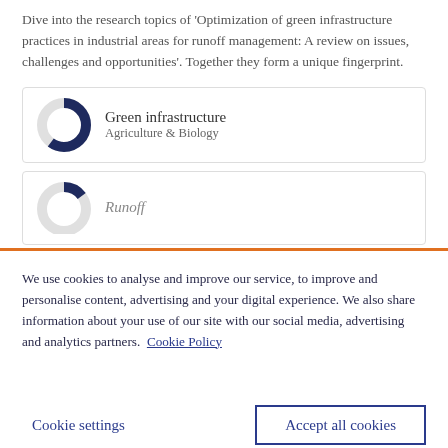Dive into the research topics of 'Optimization of green infrastructure practices in industrial areas for runoff management: A review on issues, challenges and opportunities'. Together they form a unique fingerprint.
[Figure (donut-chart): Donut chart showing approximately 85% fill in dark navy/blue color, representing Green infrastructure topic]
[Figure (donut-chart): Partial donut chart (cropped) showing Runoff topic]
We use cookies to analyse and improve our service, to improve and personalise content, advertising and your digital experience. We also share information about your use of our site with our social media, advertising and analytics partners. Cookie Policy
Cookie settings
Accept all cookies